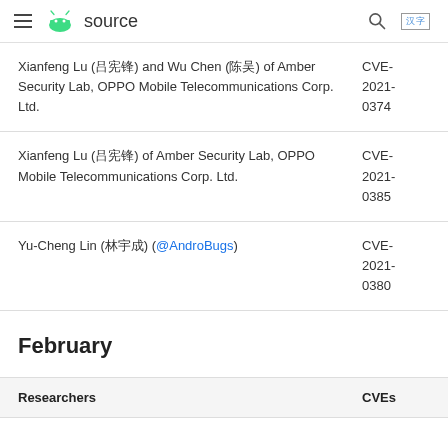source
| Researchers | CVEs |
| --- | --- |
| Xianfeng Lu (吕宪锋) and Wu Chen (陈吴) of Amber Security Lab, OPPO Mobile Telecommunications Corp. Ltd. | CVE-2021-0374 |
| Xianfeng Lu (吕宪锋) of Amber Security Lab, OPPO Mobile Telecommunications Corp. Ltd. | CVE-2021-0385 |
| Yu-Cheng Lin (林宇成) (@AndroBugs) | CVE-2021-0380 |
February
| Researchers | CVEs |
| --- | --- |